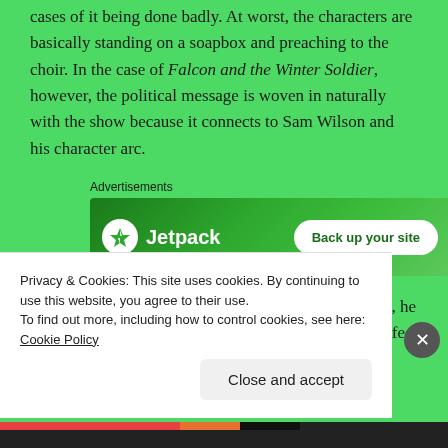cases of it being done badly. At worst, the characters are basically standing on a soapbox and preaching to the choir. In the case of Falcon and the Winter Soldier, however, the political message is woven in naturally with the show because it connects to Sam Wilson and his character arc.
[Figure (other): Jetpack advertisement banner with logo and 'Back up your site' button]
When we last left Sam Wilson at Avenger's Endgame, he received Steve's shield. The problem is that he didn't feel
Privacy & Cookies: This site uses cookies. By continuing to use this website, you agree to their use.
To find out more, including how to control cookies, see here: Cookie Policy
Close and accept